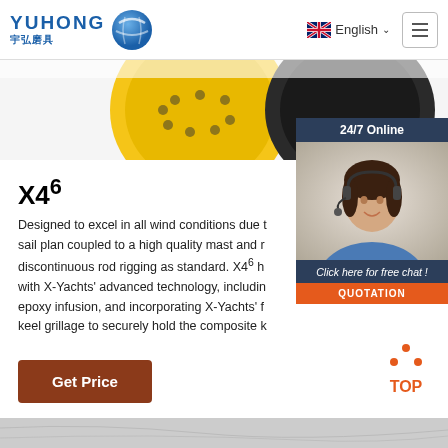YUHONG 宇弘磨具 | English
[Figure (photo): Product image showing yellow and black grinding/cutting discs at the top of the page]
[Figure (photo): 24/7 Online chat widget with woman wearing headset headphones, blue background, with 'Click here for free chat!' and 'QUOTATION' button]
X4⁶
Designed to excel in all wind conditions due to sail plan coupled to a high quality mast and discontinuous rod rigging as standard. X4⁶ h with X-Yachts' advanced technology, includin epoxy infusion, and incorporating X-Yachts' f keel grillage to securely hold the composite k
Get Price
[Figure (illustration): TOP button with orange triangle dots icon and orange TOP text]